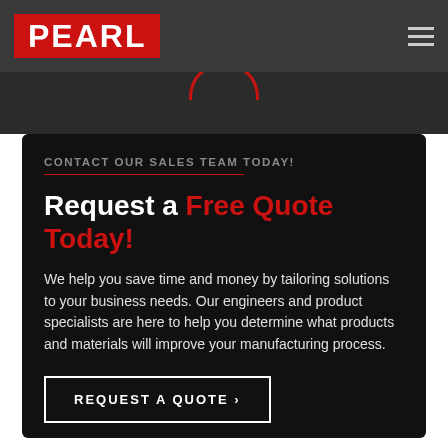[Figure (logo): PEARL logo — white bold text on red background rectangle]
CONTACT OUR SALES TEAM TODAY!
Request a Free Quote Today!
We help you save time and money by tailoring solutions to your business needs. Our engineers and product specialists are here to help you determine what products and materials will improve your manufacturing process.
REQUEST A QUOTE ›